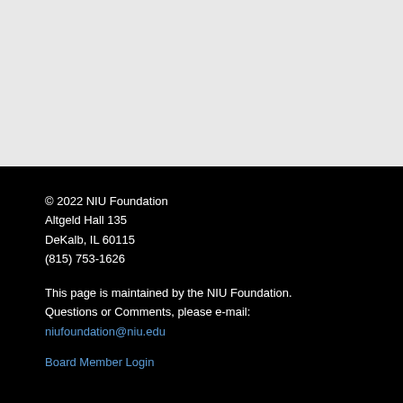© 2022 NIU Foundation
Altgeld Hall 135
DeKalb, IL 60115
(815) 753-1626
This page is maintained by the NIU Foundation.
Questions or Comments, please e-mail:
niufoundation@niu.edu
Board Member Login